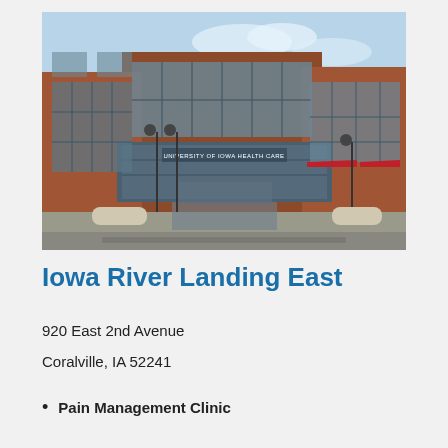[Figure (photo): Exterior photograph of University of Iowa Health Care building at Iowa River Landing East. A multi-story brick building with large glass windows, a covered walkway entrance bearing the University of Iowa Health Care sign, street lamps, and a blue sky.]
Iowa River Landing East
920 East 2nd Avenue
Coralville, IA 52241
Pain Management Clinic